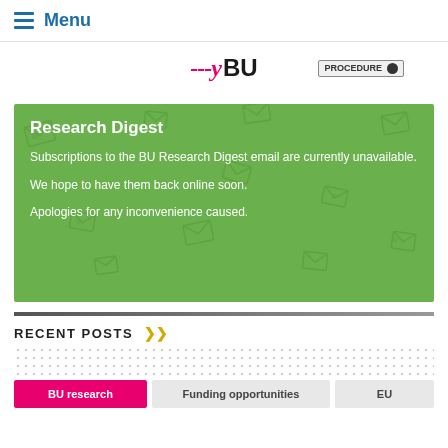≡ Menu
[Figure (logo): Partial website logo with stylized pink italic text and 'BU' in dark, plus a 'PROCEDURE' badge with toggle]
Research Digest
Subscriptions to the BU Research Digest email are currently unavailable.
We hope to have them back online soon.
Apologies for any inconvenience caused.
RECENT POSTS
BU research | Funding opportunities | EU